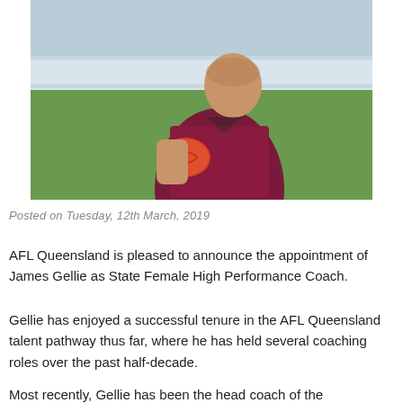[Figure (photo): Man in maroon/burgundy AFL jacket holding a red Australian rules football, standing on a grass field with a white fence in the background. Outdoor daylight setting.]
Posted on Tuesday, 12th March, 2019
AFL Queensland is pleased to announce the appointment of James Gellie as State Female High Performance Coach.
Gellie has enjoyed a successful tenure in the AFL Queensland talent pathway thus far, where he has held several coaching roles over the past half-decade.
Most recently, Gellie has been the head coach of the